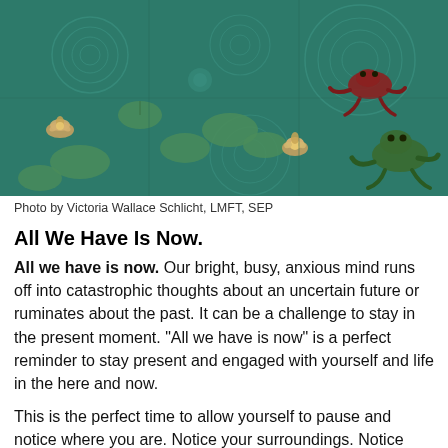[Figure (photo): Ceramic tile artwork showing a green pond with lily pads, water lilies, and a frog, with concentric ripple patterns in teal/green tones.]
Photo by Victoria Wallace Schlicht, LMFT, SEP
All We Have Is Now.
All we have is now. Our bright, busy, anxious mind runs off into catastrophic thoughts about an uncertain future or ruminates about the past. It can be a challenge to stay in the present moment. "All we have is now" is a perfect reminder to stay present and engaged with yourself and life in the here and now.
This is the perfect time to allow yourself to pause and notice where you are. Notice your surroundings. Notice what you see, and hear, and smell. Notice where, despite